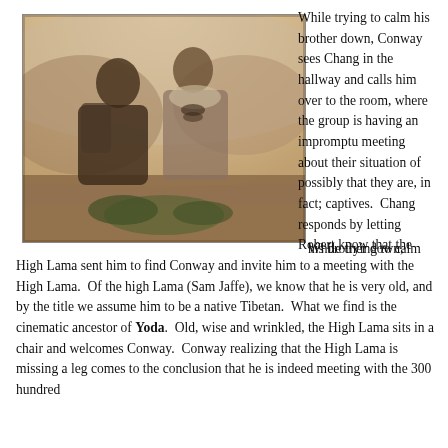[Figure (photo): Black and white / sepia-toned vintage film still showing a man and a woman, appearing to be from a classic Hollywood movie, seated together outdoors or in a rustic setting.]
While trying to calm his brother down, Conway sees Chang in the hallway and calls him over to the room, where the group is having an impromptu meeting about their situation of possibly that they are, in fact; captives.  Chang responds by letting Robert know that the High Lama sent him to find Conway and invite him to a meeting with the High Lama.  Of the high Lama (Sam Jaffe), we know that he is very old, and by the title we assume him to be a native Tibetan.  What we find is the cinematic ancestor of Yoda.  Old, wise and wrinkled, the High Lama sits in a chair and welcomes Conway.  Conway realizing that the High Lama is missing a leg comes to the conclusion that he is indeed meeting with the 300 hundred year old Father Perrault.  Just a bit on his way to